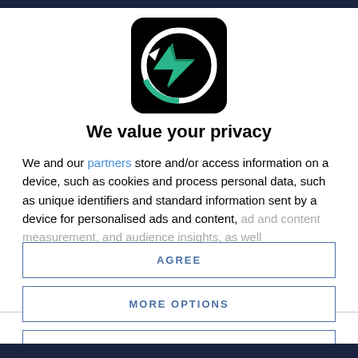[Figure (logo): App logo: black square background with a circular arrow icon in white and teal/green colors, containing a lightning bolt shape]
We value your privacy
We and our partners store and/or access information on a device, such as cookies and process personal data, such as unique identifiers and standard information sent by a device for personalised ads and content, ad and content measurement, and audience insights, as well
AGREE
MORE OPTIONS
DISAGREE